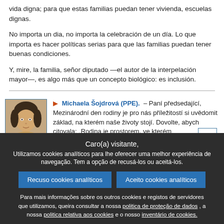vida digna; para que estas familias puedan tener vivienda, escuelas dignas.
No importa un dia, no importa la celebración de un día. Lo que importa es hacer políticas serias para que las familias puedan tener buenas condiciones.
Y, mire, la familia, señor diputado —el autor de la interpelación mayor—, es algo más que un concepto biológico: es inclusión.
Michaela Šojdrová (PPE). – Paní předsedající, Mezinárodní den rodiny je pro nás příležitostí si uvědomit základ, na kterém naše životy stojí. Dovolte, abych citovala: „Rodina je prostorem, ve kterém
Caro(a) visitante, Utilizamos cookies analíticos para lhe oferecer uma melhor experiência de navegação. Tem a opção de recusá-los ou aceitá-los.
Recuso cookies analíticos
Aceito cookies analíticos
Para mais informações sobre os outros cookies e registos de servidores que utilizamos, queira consultar a nossa politica de proteção de dados , a nossa politica relativa aos cookies e o nosso inventário de cookies.